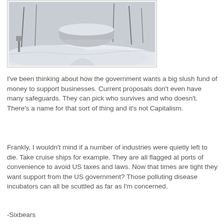[Figure (photo): A snow-covered outdoor scene showing a path or driveway with deep snow, bare trees, and what appears to be a covered vehicle or boat in the background.]
I've been thinking about how the government wants a big slush fund of money to support businesses. Current proposals don't even have many safeguards. They can pick who survives and who doesn't. There's a name for that sort of thing and it's not Capitalism.
Frankly, I wouldn't mind if a number of industries were quietly left to die. Take cruise ships for example. They are all flagged at ports of convenience to avoid US taxes and laws. Now that times are tight they want support from the US government? Those polluting disease incubators can all be scuttled as far as I'm concerned.
-Sixbears